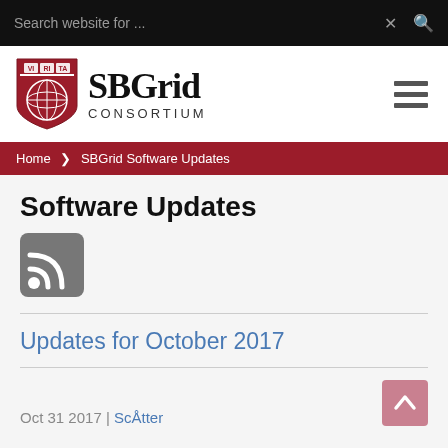Search website for ...
[Figure (logo): SBGrid Consortium logo with Harvard shield]
Home › SBGrid Software Updates
Software Updates
[Figure (other): RSS feed icon]
Updates for October 2017
Oct 31 2017 | ScÅtter